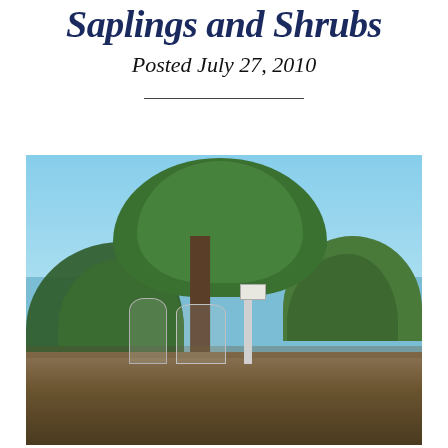Saplings and Shrubs
Posted July 27, 2010
[Figure (photo): Photograph of a young tree sapling with wire cages around it, set in an open area with background shrubs and trees under a clear blue sky.]